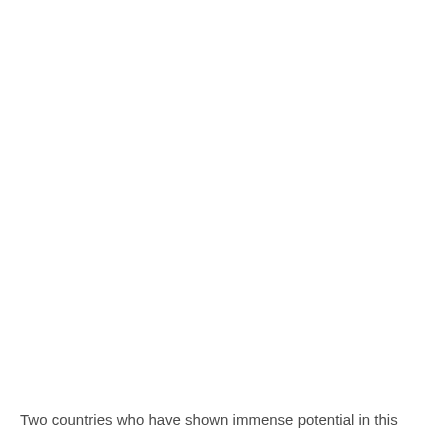Two countries who have shown immense potential in this